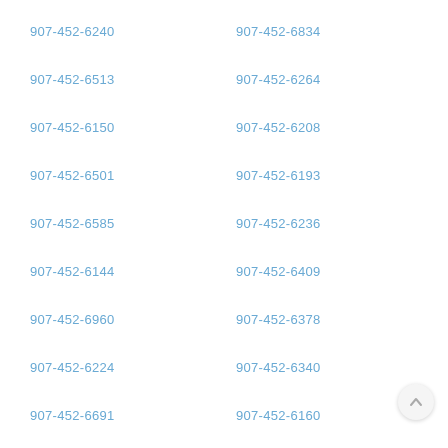907-452-6240
907-452-6834
907-452-6513
907-452-6264
907-452-6150
907-452-6208
907-452-6501
907-452-6193
907-452-6585
907-452-6236
907-452-6144
907-452-6409
907-452-6960
907-452-6378
907-452-6224
907-452-6340
907-452-6691
907-452-6160